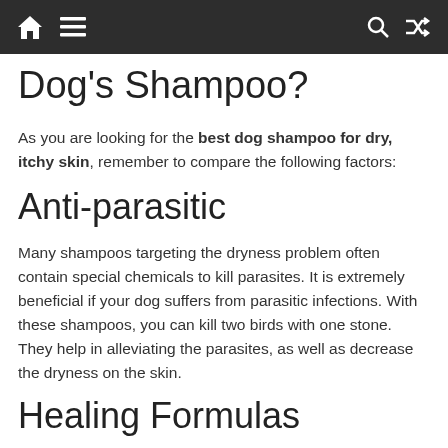Navigation bar with home, menu, search, and shuffle icons
Dog's Shampoo?
As you are looking for the best dog shampoo for dry, itchy skin, remember to compare the following factors:
Anti-parasitic
Many shampoos targeting the dryness problem often contain special chemicals to kill parasites. It is extremely beneficial if your dog suffers from parasitic infections. With these shampoos, you can kill two birds with one stone. They help in alleviating the parasites, as well as decrease the dryness on the skin.
Healing Formulas